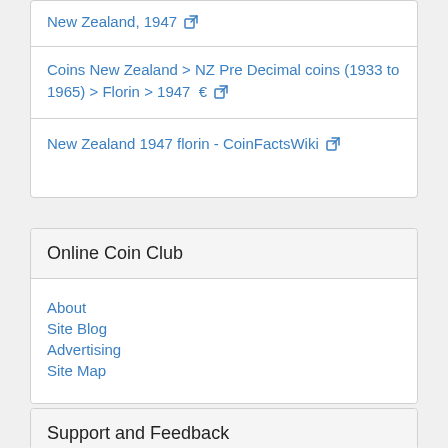New Zealand, 1947 ↗
Coins New Zealand > NZ Pre Decimal coins (1933 to 1965) > Florin > 1947  €  ↗
New Zealand 1947 florin - CoinFactsWiki ↗
Online Coin Club
About
Site Blog
Advertising
Site Map
Support and Feedback